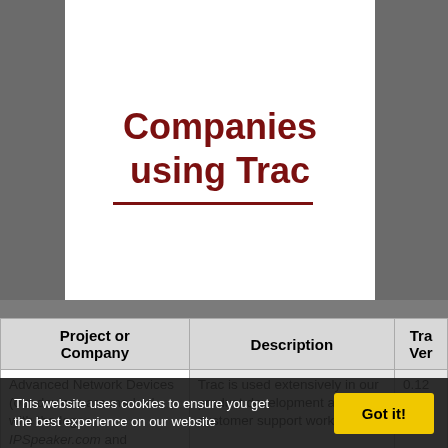Companies using Trac
| Project or Company | Description | Trac Version |
| --- | --- | --- |
| Advanced Network Devices (our devices are marked with the logos IPSpeaker.com and IPClock.com) | Trac is used extensively in our product development and customer support workflows. | 0.12 |
|  | We use Trac to develop all our projects, we implemented Agilo for Scrum which is an "agile" extension of Trac, specialized in supporting the Scrum process. Agilo extends Trac in |  |
This website uses cookies to ensure you get the best experience on our website